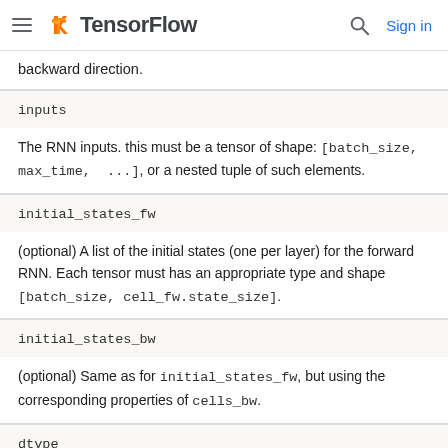TensorFlow  Sign in
backward direction.
inputs
The RNN inputs. this must be a tensor of shape: [batch_size, max_time, ...], or a nested tuple of such elements.
initial_states_fw
(optional) A list of the initial states (one per layer) for the forward RNN. Each tensor must has an appropriate type and shape [batch_size, cell_fw.state_size].
initial_states_bw
(optional) Same as for initial_states_fw, but using the corresponding properties of cells_bw.
dtype
(optional) The data type for the initial state. Required if either of the initial states are not provided.